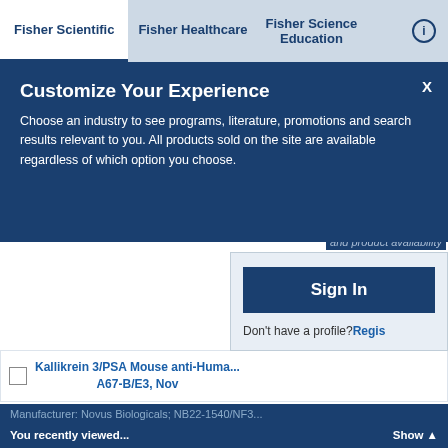Fisher Scientific | Fisher Healthcare | Fisher Science Education
Customize Your Experience
Choose an industry to see programs, literature, promotions and search results relevant to you. All products sold on the site are available regardless of which option you choose.
Sign In
Don't have a profile? Regis...
Kallikrein 3/PSA Mouse anti-Human, A67-B/E3, Nov...
Kallikrein 3/PSA Mouse anti-Human, Alexa Fluor™ 532, Clone: A67-B/E3, Novus Biologicals™
Mouse Monoclonal Antibody
You recently viewed... Show ▲
Manufacturer: Novus Biologicals; NB22-1540/NF3...